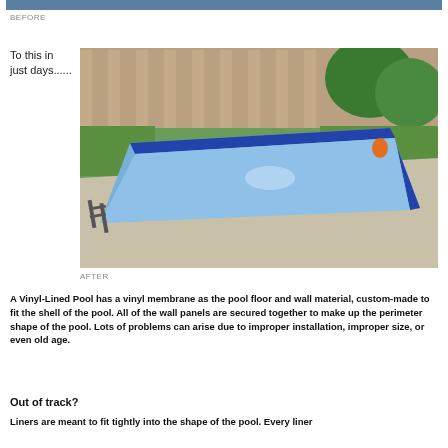[Figure (photo): Top strip of a before photo of a pool, dark teal/blue color bar]
BEFORE
To this in just days......
[Figure (photo): After photo of a vinyl-lined swimming pool with blue liner installed, surrounded by concrete decking and wooden fence in a backyard]
AFTER
A Vinyl-Lined Pool has a vinyl membrane as the pool floor and wall material, custom-made to fit the shell of the pool. All of the wall panels are secured together to make up the perimeter shape of the pool. Lots of problems can arise due to improper installation, improper size, or even old age.
Out of track?
Liners are meant to fit tightly into the shape of the pool. Every liner